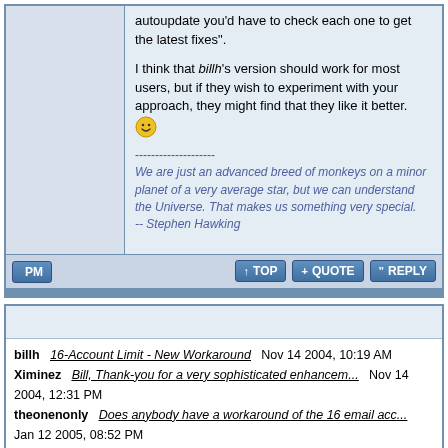autoupdate you'd have to check each one to get the latest fixes".
I think that billh's version should work for most users, but if they wish to experiment with your approach, they might find that they like it better. :)
--------------------
We are just an advanced breed of monkeys on a minor planet of a very average star, but we can understand the Universe. That makes us something very special.
-- Stephen Hawking
billh   16-Account Limit - New Workaround   Nov 14 2004, 10:19 AM
Ximinez   Bill, Thank-you for a very sophisticated enhancem...   Nov 14 2004, 12:31 PM
theonenonly   Does anybody have a workaround of the 16 email acc...   Jan 12 2005, 08:52 PM
    Ximinez   I suspect that the workaround should run for any ...   Jan 12 2005, 08:54 PM